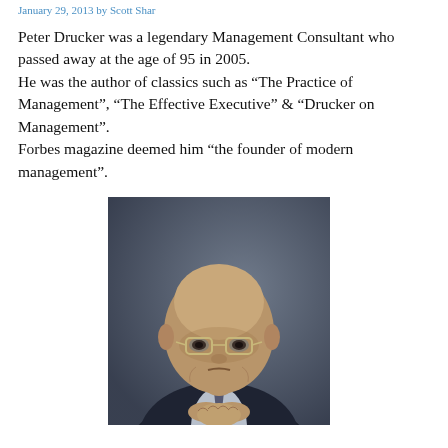January 29, 2013 by Scott Shar
Peter Drucker was a legendary Management Consultant who passed away at the age of 95 in 2005.
He was the author of classics such as “The Practice of Management”, “The Effective Executive” & “Drucker on Management”.
Forbes magazine deemed him “the founder of modern management”.
[Figure (photo): Black and white portrait photograph of Peter Drucker, an elderly man wearing glasses and a dark suit, with hands clasped, against a dark blurred background.]